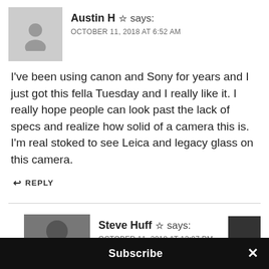Austin H ☆ says:
OCTOBER 11, 2018 AT 6:52 AM
I've been using canon and Sony for years and I just got this fella Tuesday and I really like it. I really hope people can look past the lack of specs and realize how solid of a camera this is. I'm real stoked to see Leica and legacy glass on this camera.
↩ REPLY
Steve Huff ☆ says:
OCTOBER 11, 2018 AT 12:07 PM
Subscribe